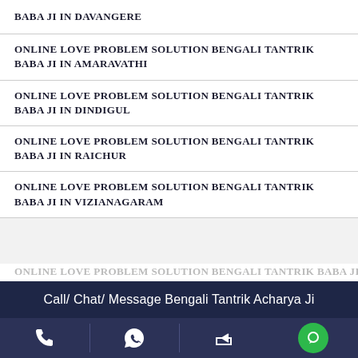BABA JI IN DAVANGERE
ONLINE LOVE PROBLEM SOLUTION BENGALI TANTRIK BABA JI IN AMARAVATHI
ONLINE LOVE PROBLEM SOLUTION BENGALI TANTRIK BABA JI IN DINDIGUL
ONLINE LOVE PROBLEM SOLUTION BENGALI TANTRIK BABA JI IN RAICHUR
ONLINE LOVE PROBLEM SOLUTION BENGALI TANTRIK BABA JI IN VIZIANAGARAM
ONLINE LOVE PROBLEM SOLUTION BENGALI TANTRIK...
Call/ Chat/ Message Bengali Tantrik Acharya Ji